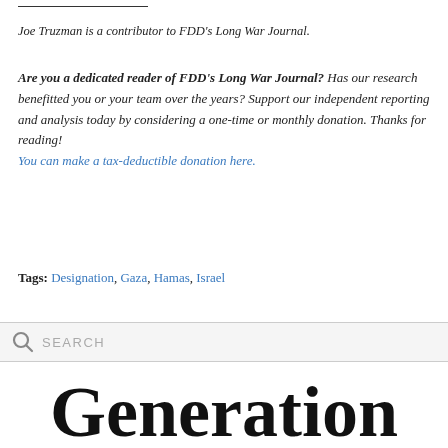Joe Truzman is a contributor to FDD's Long War Journal.
Are you a dedicated reader of FDD's Long War Journal? Has our research benefitted you or your team over the years? Support our independent reporting and analysis today by considering a one-time or monthly donation. Thanks for reading! You can make a tax-deductible donation here.
Tags: Designation, Gaza, Hamas, Israel
SEARCH
Generation